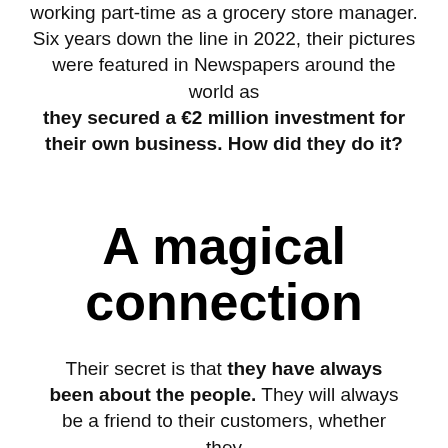working part-time as a grocery store manager. Six years down the line in 2022, their pictures were featured in Newspapers around the world as they secured a €2 million investment for their own business. How did they do it?
A magical connection
Their secret is that they have always been about the people. They will always be a friend to their customers, whether they